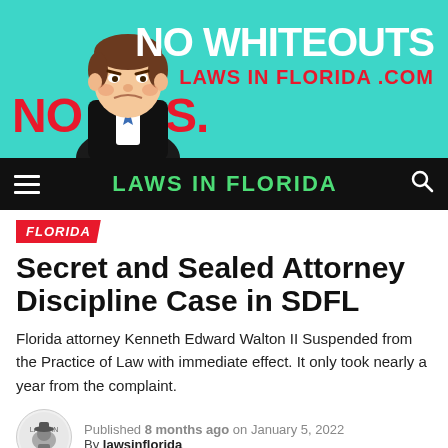[Figure (illustration): Banner advertisement for lawsinflorida.com featuring a caricature of a judge, bold red text 'NO BS.' on the left, and 'NO WHITEOUTS / LAWS IN FLORIDA .COM' on the right, on a teal background.]
LAWS IN FLORIDA
FLORIDA
Secret and Sealed Attorney Discipline Case in SDFL
Florida attorney Kenneth Edward Walton II Suspended from the Practice of Law with immediate effect. It only took nearly a year from the complaint.
Published 8 months ago on January 5, 2022
By lawsinflorida
[Figure (photo): Partial bottom image strip, appears to be a dark brown/gold colored photo, partially visible at bottom of page.]